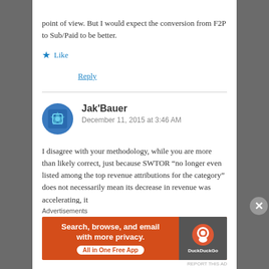point of view. But I would expect the conversion from F2P to Sub/Paid to be better.
Like
Reply
Jak'Bauer
December 11, 2015 at 3:46 AM
I disagree with your methodology, while you are more than likely correct, just because SWTOR “no longer even listed among the top revenue attributions for the category” does not necessarily mean its decrease in revenue was accelerating, it
Advertisements
[Figure (screenshot): DuckDuckGo advertisement banner: orange background with text 'Search, browse, and email with more privacy. All in One Free App' and DuckDuckGo logo on dark right side]